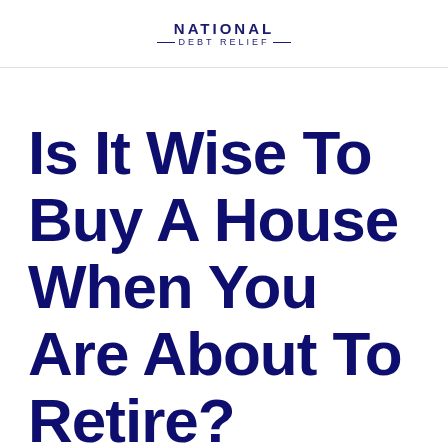NATIONAL DEBT RELIEF
Is It Wise To Buy A House When You Are About To Retire?